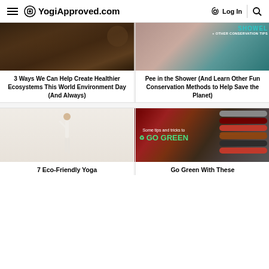≡ YogiApproved.com   Log In 🔍
[Figure (photo): Close-up of dark soil/dirt]
[Figure (photo): Person washing hair in shower with teal text overlay reading SHOWEL + OTHER CONSERVATION TIPS]
3 Ways We Can Help Create Healthier Ecosystems This World Environment Day (And Always)
Pee in the Shower (And Learn Other Fun Conservation Methods to Help Save the Planet)
[Figure (photo): Woman in white outfit posing against white wall]
[Figure (photo): Rolled yoga mats with text overlay: Some tips and tricks to GO GREEN with recycle icons]
7 Eco-Friendly Yoga
Go Green With These